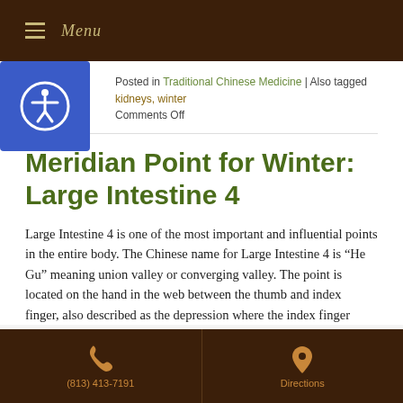Menu
Posted in Traditional Chinese Medicine | Also tagged kidneys, winter
Comments Off
Meridian Point for Winter: Large Intestine 4
Large Intestine 4 is one of the most important and influential points in the entire body. The Chinese name for Large Intestine 4 is “He Gu” meaning union valley or converging valley. The point is located on the hand in the web between the thumb and index finger, also described as the depression where the index finger
(813) 413-7191   Directions